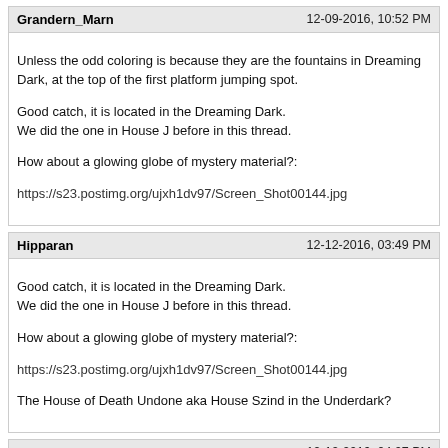Grandern_Marn | 12-09-2016, 10:52 PM
Unless the odd coloring is because they are the fountains in Dreaming Dark, at the top of the first platform jumping spot.

Good catch, it is located in the Dreaming Dark.
We did the one in House J before in this thread.

How about a glowing globe of mystery material?:

https://s23.postimg.org/ujxh1dv97/Screen_Shot00144.jpg
Hipparan | 12-12-2016, 03:49 PM
Good catch, it is located in the Dreaming Dark.
We did the one in House J before in this thread.

How about a glowing globe of mystery material?:

https://s23.postimg.org/ujxh1dv97/Screen_Shot00144.jpg

The House of Death Undone aka House Szind in the Underdark?
Sierim | 12-12-2016, 04:07 PM
Tricky picture here, as this was when a location was bugged for an update or two.

http://i889.photobucket.com/albums/ac100/Sierim/Swimming%20in%20the%20Deep_
xCataluna | 12-12-2016, 04:21 PM
That looks like the trapped chest in Heyton's Rest, though I never caught it flooded like that... o.O